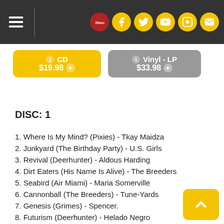Discogs music store header with social icons
[Figure (screenshot): CD buy button: $19.98, Vinyl-LP buy button: $33.98]
DISC: 1
1. Where Is My Mind? (Pixies) - Tkay Maidza
2. Junkyard (The Birthday Party) - U.S. Girls
3. Revival (Deerhunter) - Aldous Harding
4. Dirt Eaters (His Name Is Alive) - The Breeders
5. Seabird (Air Miami) - Maria Somerville
6. Cannonball (The Breeders) - Tune-Yards
7. Genesis (Grimes) - Spencer.
8. Futurism (Deerhunter) - Helado Negro
9. Postal - Efterklang
10. Gigantic (Piano Magic) - Bing and Ruth
11. The Moon Is Blue (Colourbox) - Future Islands
12. Sunbathing (Lush) - Jenny Hval
13. Oblivion (Grimes) - Dry Cleaning
14. Mountain Battles (Breeders) - Bradford Cox